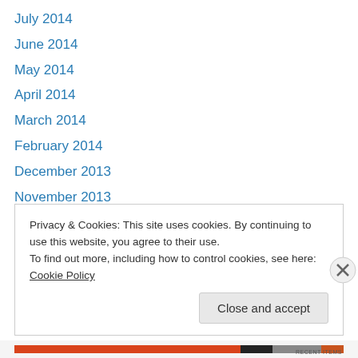July 2014
June 2014
May 2014
April 2014
March 2014
February 2014
December 2013
November 2013
October 2013
September 2013
June 2013
May 2013
April 2013
Privacy & Cookies: This site uses cookies. By continuing to use this website, you agree to their use. To find out more, including how to control cookies, see here: Cookie Policy
Close and accept